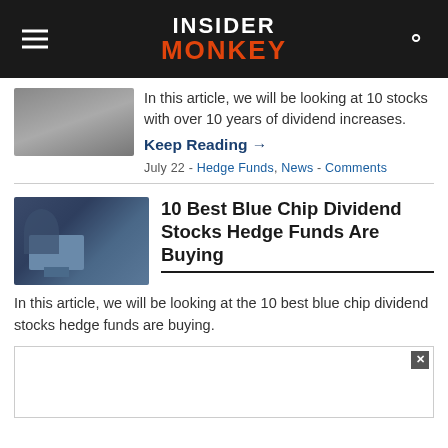INSIDER MONKEY
[Figure (photo): Partial thumbnail of an article image (cropped, top portion cut off)]
In this article, we will be looking at 10 stocks with over 10 years of dividend increases.
Keep Reading →
July 22 - Hedge Funds, News - Comments
[Figure (photo): Photo of a person sitting at a desk with computer monitors showing financial data]
10 Best Blue Chip Dividend Stocks Hedge Funds Are Buying
In this article, we will be looking at the 10 best blue chip dividend stocks hedge funds are buying.
[Figure (other): Advertisement box with close button (x)]